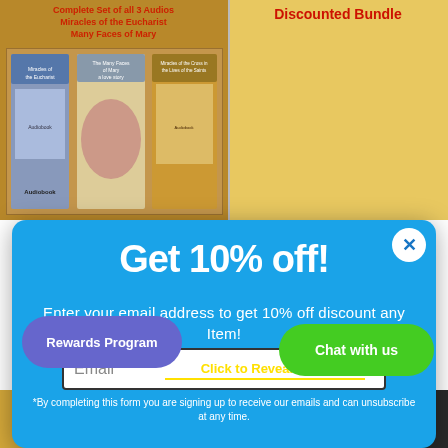[Figure (screenshot): Background page with book covers on top-left, discounted bundle saints list on top-right, Set of 7 DVDs at bottom-left, Saints image at bottom-right]
Get 10% off!
Enter your email address to get 10% off discount any Item!
*By completing this form you are signing up to receive our emails and can unsubscribe at any time.
Rewards Program
Click to Reveal Code
Chat with us